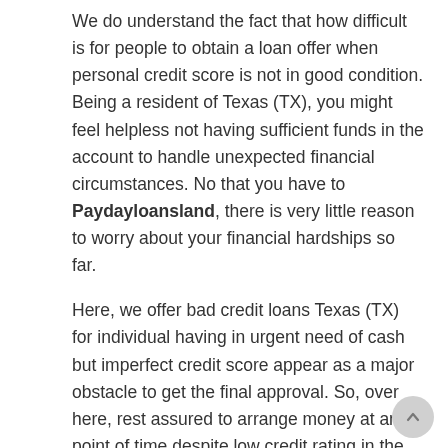We do understand the fact that how difficult is for people to obtain a loan offer when personal credit score is not in good condition. Being a resident of Texas (TX), you might feel helpless not having sufficient funds in the account to handle unexpected financial circumstances. No that you have to Paydayloansland, there is very little reason to worry about your financial hardships so far.
Here, we offer bad credit loans Texas (TX) for individual having in urgent need of cash but imperfect credit score appear as a major obstacle to get the final approval. So, over here, rest assured to arrange money at any point of time despite low credit rating in the profile.